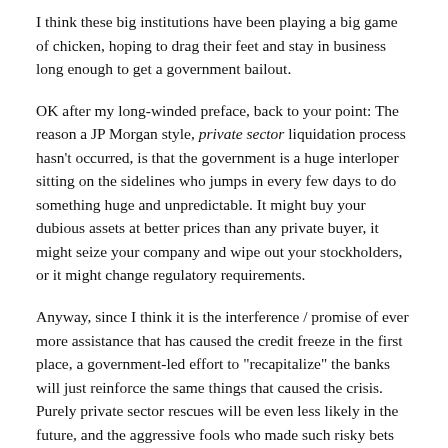I think these big institutions have been playing a big game of chicken, hoping to drag their feet and stay in business long enough to get a government bailout.
OK after my long-winded preface, back to your point: The reason a JP Morgan style, private sector liquidation process hasn't occurred, is that the government is a huge interloper sitting on the sidelines who jumps in every few days to do something huge and unpredictable. It might buy your dubious assets at better prices than any private buyer, it might seize your company and wipe out your stockholders, or it might change regulatory requirements.
Anyway, since I think it is the interference / promise of ever more assistance that has caused the credit freeze in the first place, a government-led effort to "recapitalize" the banks will just reinforce the same things that caused the crisis. Purely private sector rescues will be even less likely in the future, and the aggressive fools who made such risky bets during the last few years are more likely to stay in the industry, rather than applying to be a greeter at WalMart.